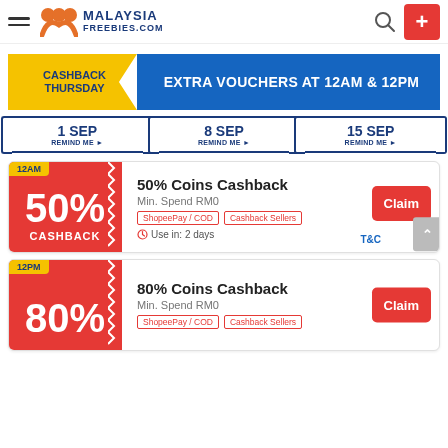Malaysia Freebies .com
[Figure (infographic): Cashback Thursday banner — EXTRA VOUCHERS AT 12AM & 12PM]
1 SEP REMIND ME ▸   8 SEP REMIND ME ▸   15 SEP REMIND ME ▸
[Figure (infographic): 50% Cashback voucher card — 12AM badge, 50% Coins Cashback, Min. Spend RM0, ShopeePay/COD, Cashback Sellers, Use in: 2 days, T&C, Claim button]
[Figure (infographic): 80% Cashback voucher card — 12PM badge, 80% Coins Cashback, Min. Spend RM0, ShopeePay/COD, Cashback Sellers, Claim button]